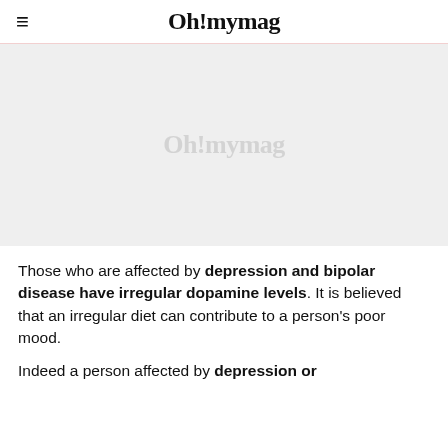Oh!mymag
[Figure (photo): Placeholder image area with watermark logo 'Oh!mymag' on a light grey background]
Those who are affected by depression and bipolar disease have irregular dopamine levels. It is believed that an irregular diet can contribute to a person's poor mood.
Indeed a person affected by depression or